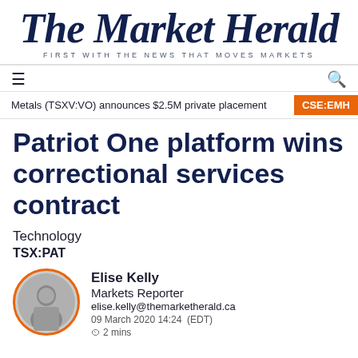The Market Herald — FIRST WITH THE NEWS THAT MOVES MARKETS
Metals (TSXV:VO) announces $2.5M private placement  CSE:EMH
Patriot One platform wins correctional services contract
Technology
TSX:PAT
Elise Kelly
Markets Reporter
elise.kelly@themarketherald.ca
09 March 2020 14:24 (EDT)
2 mins